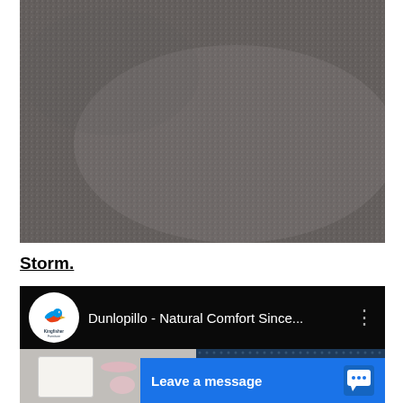[Figure (photo): Close-up photograph of a heathered grey fabric texture (storm colourway), showing a dense mottled surface with subtle light and dark speckles.]
Storm.
[Figure (screenshot): YouTube video thumbnail showing 'Dunlopillo - Natural Comfort Since...' with Kingfisher Furniture logo, overlaid with a blue 'Leave a message' live chat widget.]